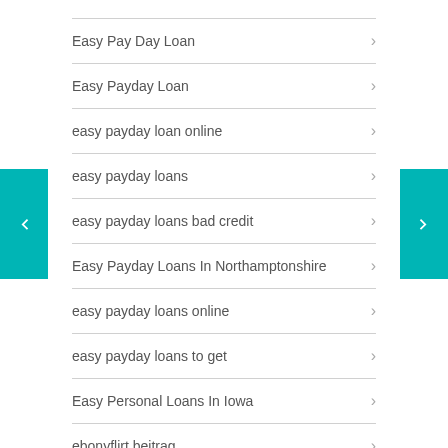Easy Pay Day Loan
Easy Payday Loan
easy payday loan online
easy payday loans
easy payday loans bad credit
Easy Payday Loans In Northamptonshire
easy payday loans online
easy payday loans to get
Easy Personal Loans In Iowa
ebonyflirt beitrag
Ebonyflirt kosten